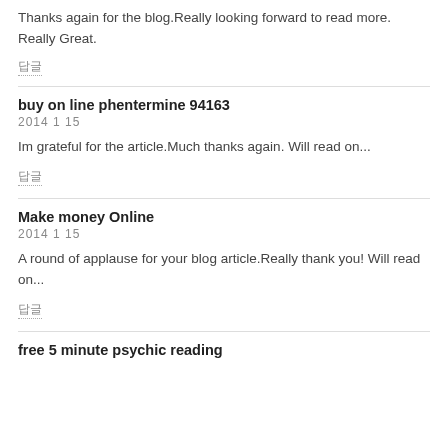Thanks again for the blog.Really looking forward to read more. Really Great.
답글
buy on line phentermine 94163
2014  1  15
Im grateful for the article.Much thanks again. Will read on...
답글
Make money Online
2014  1  15
A round of applause for your blog article.Really thank you! Will read on...
답글
free 5 minute psychic reading